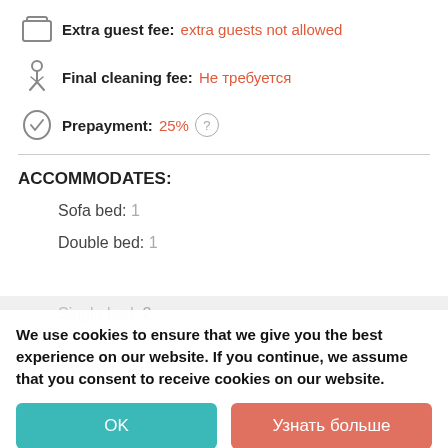Extra guest fee: extra guests not allowed
Final cleaning fee: Не требуется
Prepayment: 25% (?)
ACCOMMODATES:
Sofa bed: 1
Double bed: 1
Single bed: 2
HOUSE RULES:
Children: Allowed
We use cookies to ensure that we give you the best experience on our website. If you continue, we assume that you consent to receive cookies on our website.